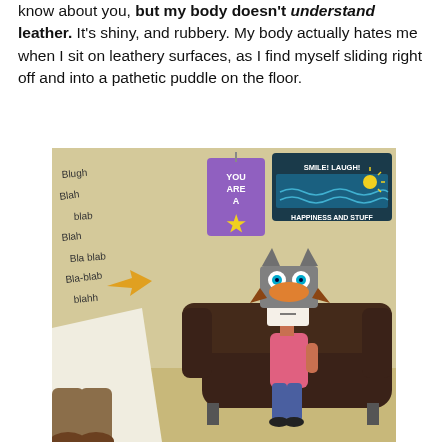know about you, but my body doesn't understand leather. It's shiny, and rubbery. My body actually hates me when I sit on leathery surfaces, as I find myself sliding right off and into a pathetic puddle on the floor.
[Figure (illustration): Cartoon illustration of a therapy/counseling scene. A character wearing an owl mask sits on a dark brown leather couch. On the wall are scribbled words (Blugh, Blah, Blab, Blah, Bla blab, Bla-blab, blahh) and two signs: a purple sign reading 'YOU ARE A STAR' with a yellow star, and a dark sign reading 'SMILE! LAUGH! HAPPINESS AND STUFF' with a small ocean/wave scene. A pointing hand is visible on the left wall. In the foreground bottom-left, legs/feet of another person (the therapist) are visible.]